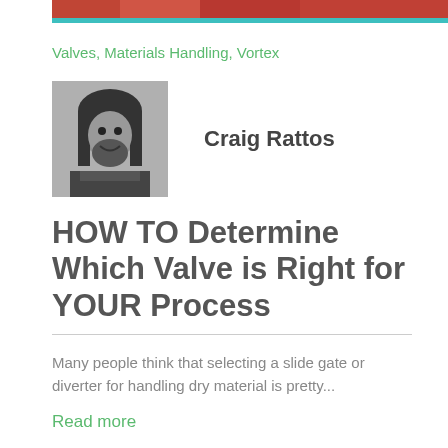[Figure (photo): Top banner image showing industrial equipment, cropped at top of page]
Valves, Materials Handling, Vortex
[Figure (photo): Black and white portrait photo of Craig Rattos, a man with long hair and beard]
Craig Rattos
HOW TO Determine Which Valve is Right for YOUR Process
Many people think that selecting a slide gate or diverter for handling dry material is pretty...
Read more